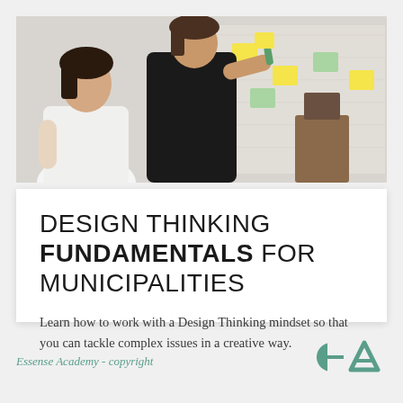[Figure (photo): Two women at a whiteboard/wall with sticky notes, appearing to collaborate on a planning or brainstorming session. One wears white, one wears black. Office or workshop setting.]
DESIGN THINKING FUNDAMENTALS FOR MUNICIPALITIES
Learn how to work with a Design Thinking mindset so that you can tackle complex issues in a creative way.
Essense Academy - copyright
[Figure (logo): Essense Academy logo: stylized lowercase 'e' and uppercase 'A' in green/teal color]